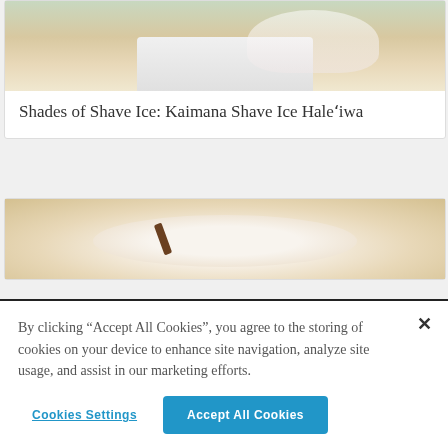[Figure (photo): Photo of a person operating a shave ice machine at a counter, with ice shaving equipment visible]
Shades of Shave Ice: Kaimana Shave Ice Haleʻiwa
[Figure (photo): Close-up photo of a bowl of shave ice with a light cream or vanilla colored topping on a wooden surface]
By clicking “Accept All Cookies”, you agree to the storing of cookies on your device to enhance site navigation, analyze site usage, and assist in our marketing efforts.
Cookies Settings
Accept All Cookies